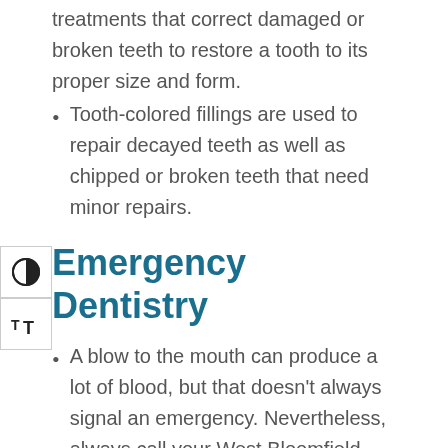treatments that correct damaged or broken teeth to restore a tooth to its proper size and form.
Tooth-colored fillings are used to repair decayed teeth as well as chipped or broken teeth that need minor repairs.
Emergency Dentistry
A blow to the mouth can produce a lot of blood, but that doesn't always signal an emergency. Nevertheless, always call your West Bloomfield Township dentist to find out whether you need to be seen right away.
If a tooth is dislodged, loose, or knocked out, you must contact your dentist immediately.
Severe tooth pain should be addressed right away. While things may look fine on the surface, you could have an infection or problem within the tooth or under the gums that can only be